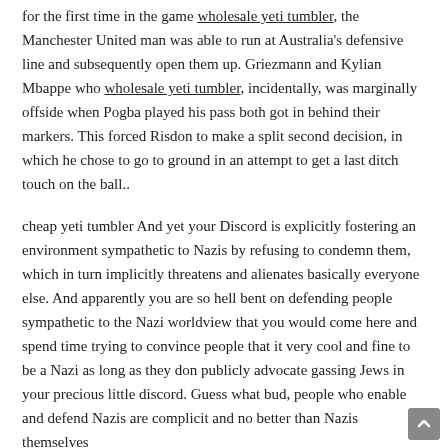for the first time in the game wholesale yeti tumbler, the Manchester United man was able to run at Australia's defensive line and subsequently open them up. Griezmann and Kylian Mbappe who wholesale yeti tumbler, incidentally, was marginally offside when Pogba played his pass both got in behind their markers. This forced Risdon to make a split second decision, in which he chose to go to ground in an attempt to get a last ditch touch on the ball..
cheap yeti tumbler And yet your Discord is explicitly fostering an environment sympathetic to Nazis by refusing to condemn them, which in turn implicitly threatens and alienates basically everyone else. And apparently you are so hell bent on defending people sympathetic to the Nazi worldview that you would come here and spend time trying to convince people that it very cool and fine to be a Nazi as long as they don publicly advocate gassing Jews in your precious little discord. Guess what bud, people who enable and defend Nazis are complicit and no better than Nazis themselves